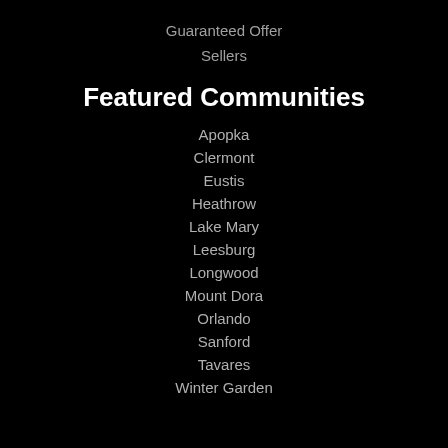Guaranteed Offer
Sellers
Featured Communities
Apopka
Clermont
Eustis
Heathrow
Lake Mary
Leesburg
Longwood
Mount Dora
Orlando
Sanford
Tavares
Winter Garden